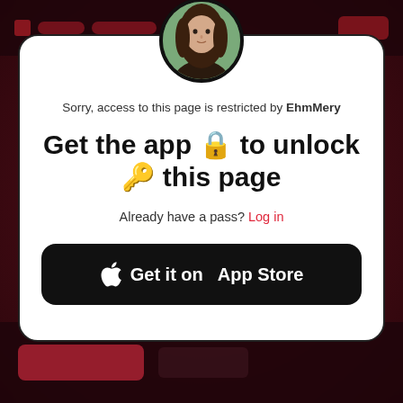[Figure (screenshot): App modal dialog on a blurred dark red background. A circular profile photo of a young woman with long brown hair is centered at the top of a white rounded card. The card contains text and a black App Store button.]
Sorry, access to this page is restricted by EhmMery
Get the app 🔒 to unlock 🔑 this page
Already have a pass? Log in
Get it on  App Store